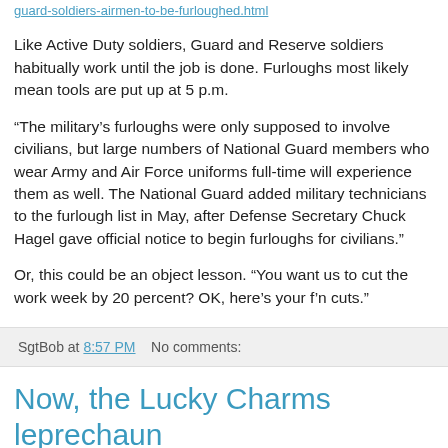guard-soldiers-airmen-to-be-furloughed.html
Like Active Duty soldiers, Guard and Reserve soldiers habitually work until the job is done. Furloughs most likely mean tools are put up at 5 p.m.
“The military’s furloughs were only supposed to involve civilians, but large numbers of National Guard members who wear Army and Air Force uniforms full-time will experience them as well. The National Guard added military technicians to the furlough list in May, after Defense Secretary Chuck Hagel gave official notice to begin furloughs for civilians.”
Or, this could be an object lesson. “You want us to cut the work week by 20 percent? OK, here’s your f’n cuts.”
SgtBob at 8:57 PM    No comments:
Now, the Lucky Charms leprechaun